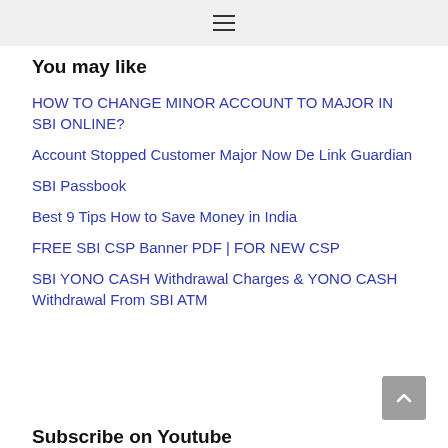≡
You may like
HOW TO CHANGE MINOR ACCOUNT TO MAJOR IN SBI ONLINE?
Account Stopped Customer Major Now De Link Guardian
SBI Passbook
Best 9 Tips How to Save Money in India
FREE SBI CSP Banner PDF | FOR NEW CSP
SBI YONO CASH Withdrawal Charges & YONO CASH Withdrawal From SBI ATM
Subscribe on Youtube